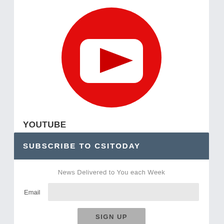[Figure (logo): YouTube logo: large red circle with white rounded-rectangle play button icon in center, red triangular play arrow inside]
YOUTUBE
SUBSCRIBE TO CSITODAY
News Delivered to You each Week
Email
SIGN UP